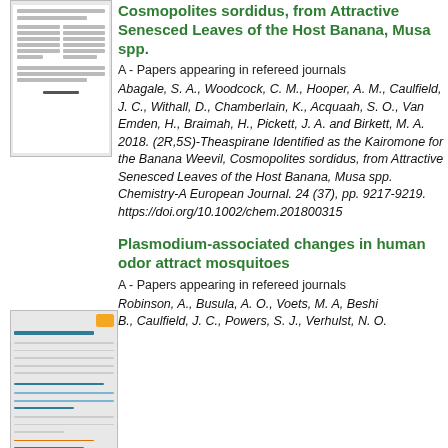[Figure (other): Thumbnail of a scientific document page showing text columns]
Cosmopolites sordidus, from Attractive Senesced Leaves of the Host Banana, Musa spp.
A - Papers appearing in refereed journals
Abagale, S. A., Woodcock, C. M., Hooper, A. M., Caulfield, J. C., Withall, D., Chamberlain, K., Acquaah, S. O., Van Emden, H., Braimah, H., Pickett, J. A. and Birkett, M. A. 2018. (2R,5S)-Theaspirane Identified as the Kairomone for the Banana Weevil, Cosmopolites sordidus, from Attractive Senesced Leaves of the Host Banana, Musa spp. Chemistry-A European Journal. 24 (37), pp. 9217-9219. https://doi.org/10.1002/chem.201800315
[Figure (other): Thumbnail of a scientific document page with heading and blue underlined text]
Plasmodium-associated changes in human odor attract mosquitoes
A - Papers appearing in refereed journals
Robinson, A., Busula, A. O., Voets, M. A, Beshir, B., Caulfield, J. C., Powers, S. J., Verhulst, N. O.